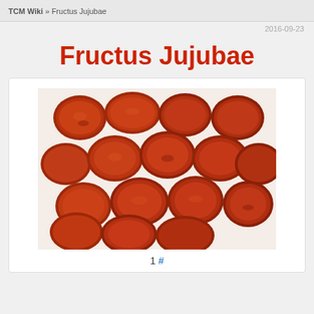TCM Wiki » Fructus Jujubae
2016-09-23
Fructus Jujubae
[Figure (photo): Photograph of dried red jujube fruits (Fructus Jujubae) — multiple wrinkled dark reddish-brown oval fruits clustered together on a white background]
1 #